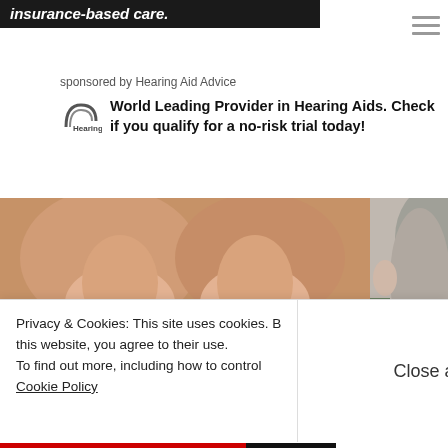insurance-based care.
sponsored by Hearing Aid Advice
[Figure (logo): Hearing Aid Advice logo — small circular arc with 'HA' letters]
World Leading Provider in Hearing Aids. Check if you qualify for a no-risk trial today!
[Figure (photo): Close-up of two hands holding small hearing aid devices with thin pins/receivers]
[Figure (photo): Side profile of elderly person's ear/head]
Privacy & Cookies: This site uses cookies. By continuing to use this website, you agree to their use. To find out more, including how to control cookies, see here:
Cookie Policy
Close and accept